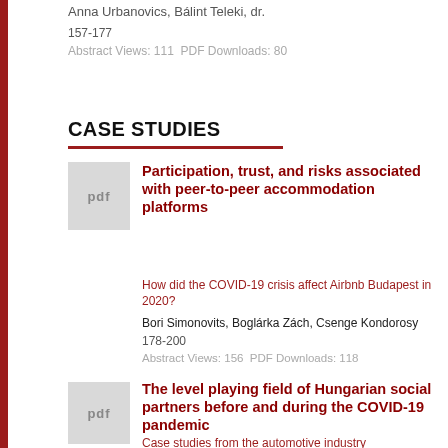Anna Urbanovics, Bálint Teleki, dr.
157-177
Abstract Views: 111  PDF Downloads: 80
CASE STUDIES
[Figure (other): PDF thumbnail icon for article 1]
Participation, trust, and risks associated with peer-to-peer accommodation platforms
How did the COVID-19 crisis affect Airbnb Budapest in 2020?
Bori Simonovits, Boglárka Zách, Csenge Kondorosy
178-200
Abstract Views: 156  PDF Downloads: 118
[Figure (other): PDF thumbnail icon for article 2]
The level playing field of Hungarian social partners before and during the COVID-19 pandemic
Case studies from the automotive industry